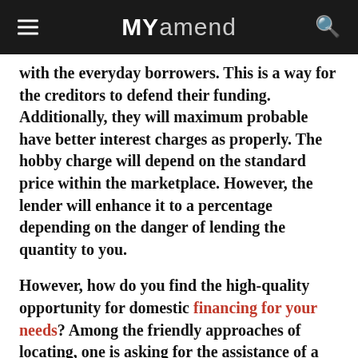MYamend
with the everyday borrowers. This is a way for the creditors to defend their funding. Additionally, they will maximum probable have better interest charges as properly. The hobby charge will depend on the standard price within the marketplace. However, the lender will enhance it to a percentage depending on the danger of lending the quantity to you.
However, how do you find the high-quality opportunity for domestic financing for your needs? Among the friendly approaches of locating, one is asking for the assistance of a loan booking. It could mean that you have to incur extra cost, but it's miles worth it because